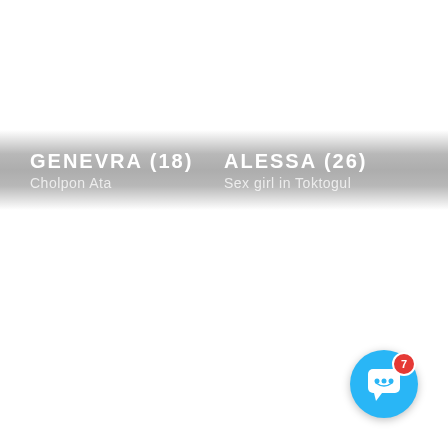GENEVRA (18)
Cholpon Ata
ALESSA (26)
Sex girl in Toktogul
[Figure (illustration): Chat button icon — blue circle with white speech bubble and smiley face, red badge showing number 7]